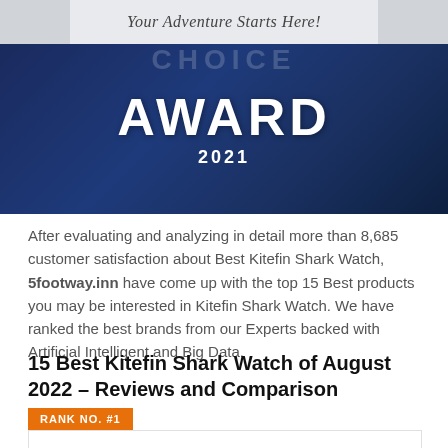[Figure (illustration): Website banner with italic text 'Your Adventure Starts Here!' on a light gray background with darker gray side panels]
[Figure (illustration): Dark navy blue award banner showing 'AWARD 2021' in large bold white text with a partially visible word above]
After evaluating and analyzing in detail more than 8,685 customer satisfaction about Best Kitefin Shark Watch, 5footway.inn have come up with the top 15 Best products you may be interested in Kitefin Shark Watch. We have ranked the best brands from our Experts backed with Artificial Intelligent and Big Data.
15 Best Kitefin Shark Watch of August 2022 – Reviews and Comparison
RANK NO. #1
[Figure (photo): Product image placeholder at bottom of page, partially visible]